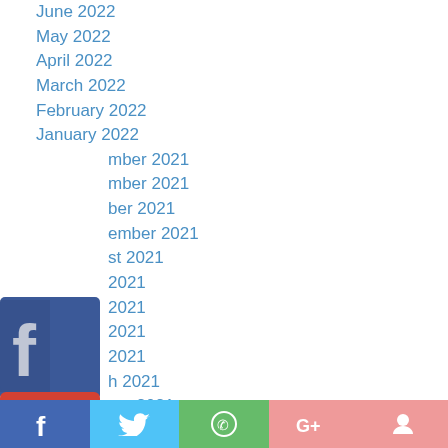June 2022
May 2022
April 2022
March 2022
February 2022
January 2022
December 2021
November 2021
October 2021
September 2021
August 2021
July 2021
June 2021
May 2021
April 2021
March 2021
February 2021
January 2021
December 2020
November 2020
October 2020
[Figure (infographic): Social sharing buttons overlay on left side: Facebook (blue), Google+ (red), Twitter (blue), Pinterest (red), Blogger (orange), More (gray). Bottom bar with Facebook, Twitter, WhatsApp, Google+, Pinterest share buttons.]